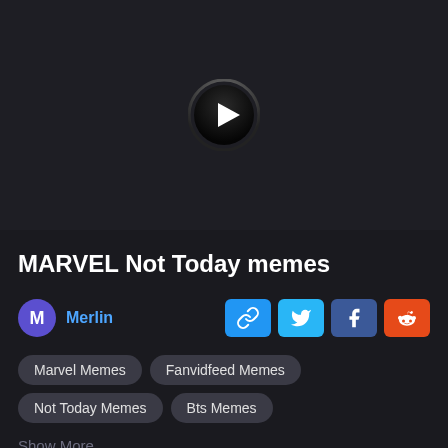[Figure (screenshot): Dark video player area with a play button (circle with triangle) centered on a near-black background.]
MARVEL Not Today memes
M Merlin
[Figure (infographic): Row of four share buttons: link (blue), Twitter (light blue), Facebook (dark blue), Reddit (orange).]
Marvel Memes
Fanvidfeed Memes
Not Today Memes
Bts Memes
Show More